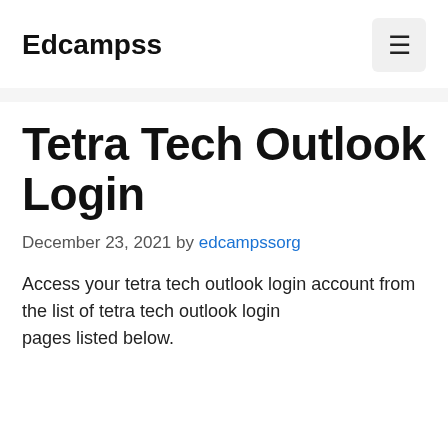Edcampss
Tetra Tech Outlook Login
December 23, 2021 by edcampssorg
Access your tetra tech outlook login account from the list of tetra tech outlook login pages listed below.